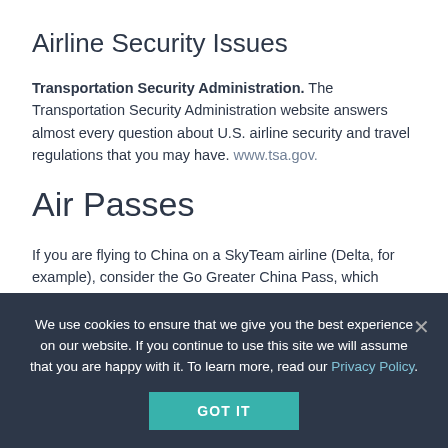Airline Security Issues
Transportation Security Administration. The Transportation Security Administration website answers almost every question about U.S. airline security and travel regulations that you may have. www.tsa.gov.
Air Passes
If you are flying to China on a SkyTeam airline (Delta, for example), consider the Go Greater China Pass, which covers 148 destinations in China, including Hong Kong, Macao, and Taiwan. After you purchase your international ticket to mainland China or Taiwan on a SkyTeam member airline, you can take between 3 and 16 flights within China on China Airlines, China Southern, China Eastern, or Xiamen Airlines. If you are a member of a frequent-flier program, these flights
We use cookies to ensure that we give you the best experience on our website. If you continue to use this site we will assume that you are happy with it. To learn more, read our Privacy Policy.
GOT IT